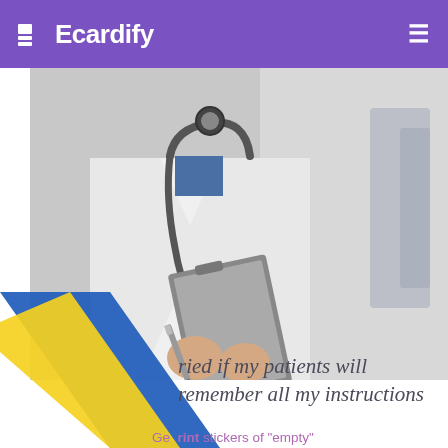Ecardify
[Figure (photo): Doctor in white coat with stethoscope holding a clipboard and pen in a hospital setting]
ried if my patients will remember all my instructions
Ge  rint stickers of "empty"